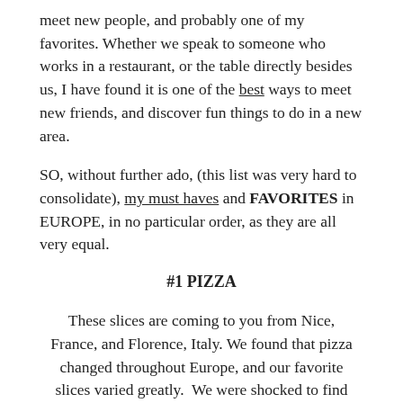meet new people, and probably one of my favorites. Whether we speak to someone who works in a restaurant, or the table directly besides us, I have found it is one of the best ways to meet new friends, and discover fun things to do in a new area.
SO, without further ado, (this list was very hard to consolidate), my must haves and FAVORITES in EUROPE, in no particular order, as they are all very equal.
#1 PIZZA
These slices are coming to you from Nice, France, and Florence, Italy. We found that pizza changed throughout Europe, and our favorite slices varied greatly. We were shocked to find the most delicious pizza, and our